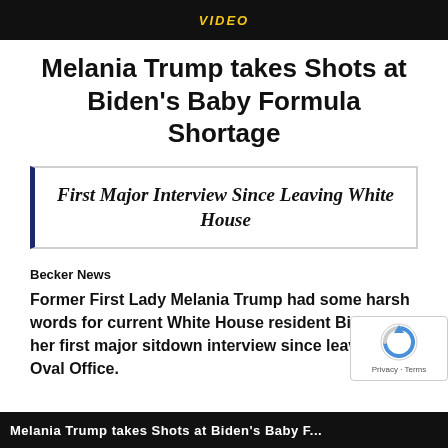[Figure (photo): Dark banner image at top with yellow text reading VIDEO]
Melania Trump takes Shots at Biden's Baby Formula Shortage
First Major Interview Since Leaving White House
Becker News
Former First Lady Melania Trump had some harsh words for current White House resident Biden in her first major sitdown interview since leaving the Oval Office.
[Figure (photo): Dark banner image at bottom with partial white text]